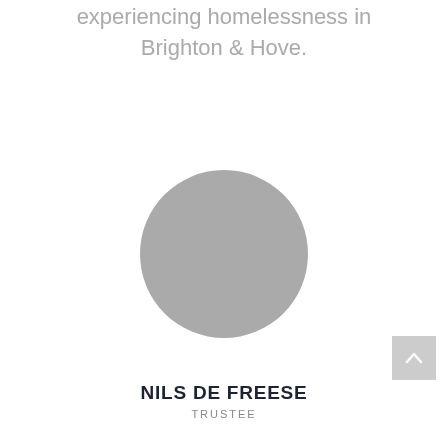experiencing homelessness in Brighton & Hove.
[Figure (photo): Circular grey placeholder portrait photo of Nils de Freese]
NILS DE FREESE
TRUSTEE